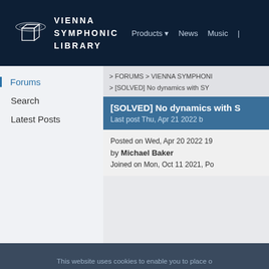VIENNA SYMPHONIC LIBRARY | Products | News | Music
Forums
Search
Latest Posts
> FORUMS > VIENNA SYMPHONIC
> [SOLVED] No dynamics with SYN
[SOLVED] No dynamics with S
Last post Thu, Apr 21 2022 b
Posted on Wed, Apr 20 2022 19
by Michael Baker
Joined on Mon, Oct 11 2021, Po
This website uses cookies to enable you to place o
By continuing to browse you are agreeing
Essential   Statistics